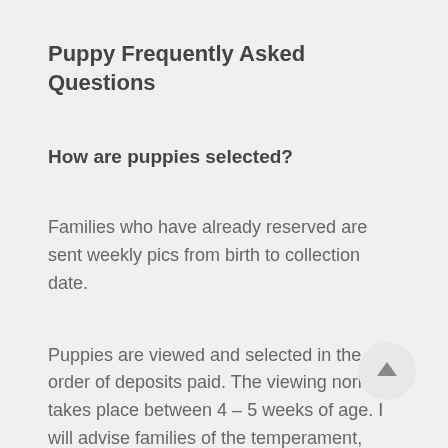Puppy Frequently Asked Questions
How are puppies selected?
Families who have already reserved are sent weekly pics from birth to collection date.
Puppies are viewed and selected in the order of deposits paid. The viewing normally takes place between 4 – 5 weeks of age. I will advise families of the temperament, coat and size of each